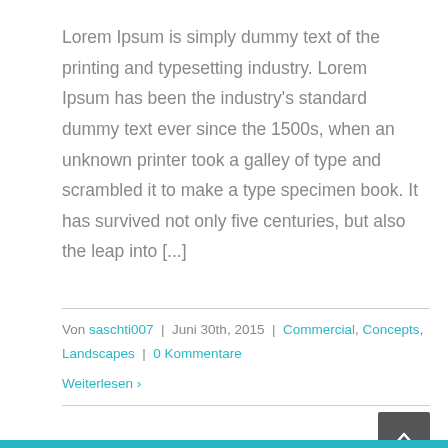Lorem Ipsum is simply dummy text of the printing and typesetting industry. Lorem Ipsum has been the industry's standard dummy text ever since the 1500s, when an unknown printer took a galley of type and scrambled it to make a type specimen book. It has survived not only five centuries, but also the leap into [...]
Von saschti007 | Juni 30th, 2015 | Commercial, Concepts, Landscapes | 0 Kommentare
Weiterlesen ›